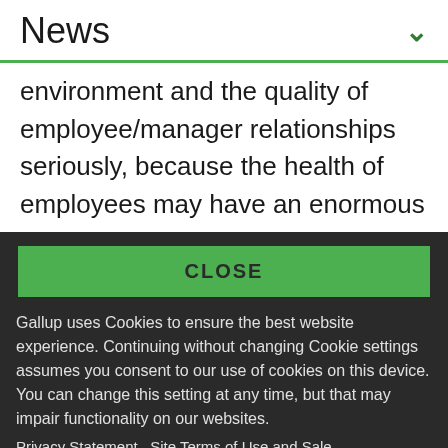News
environment and the quality of employee/manager relationships seriously, because the health of employees may have an enormous effect on the bottom line in lost productivity, absenteeism, and insurance costs
CLOSE
Gallup uses Cookies to ensure the best website experience. Continuing without changing Cookie settings assumes you consent to our use of cookies on this device. You can change this setting at any time, but that may impair functionality on our websites.
Privacy Statement   Site Terms of Use and Sale   Product Terms of Use   Adjust your cookie settings.